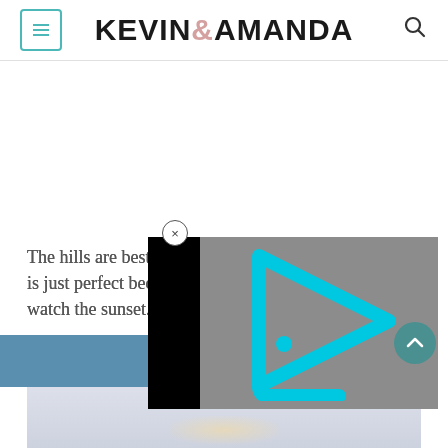KEVIN & AMANDA
[Figure (screenshot): Website screenshot of Kevin & Amanda blog with header navigation, hamburger menu icon on the left, site logo in center, search icon on the right, a close button, partially visible text content, a video overlay with play button showing a cyan/blue triangular play icon on gray background, a blue band, scroll-up button, and a bottom image area.]
The hills are best ... is just perfect bec... watch the sunset.